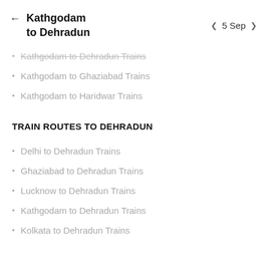Kathgodam to Dehradun | 5 Sep
Kathgodam to Dehradun Trains
Kathgodam to Ghaziabad Trains
Kathgodam to Haridwar Trains
TRAIN ROUTES TO DEHRADUN
Delhi to Dehradun Trains
Ghaziabad to Dehradun Trains
Lucknow to Dehradun Trains
Kathgodam to Dehradun Trains
Kolkata to Dehradun Trains